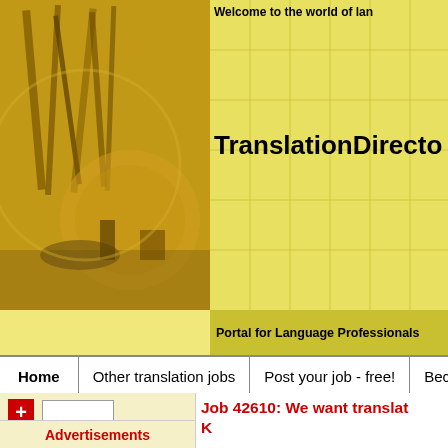Welcome to the world of lan
TranslationDirectory
Portal for Language Professionals
Home | Other translation jobs | Post your job - free! | Become
[Figure (screenshot): Plus button and search box in sidebar]
Advertisements
Job 42610: We want translators in K
Join as a member to apply for this job at TranslationDirectory.com and to
We want translators in Kannada.
Source language(s): English, Kannada, Telugu,
Target language(s): Kannada, Hindi, Telugu,
Details of the project: We want translators in